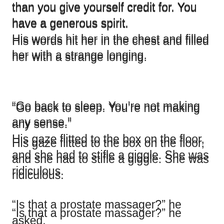than you give yourself credit for. You have a generous spirit.
His words hit her in the chest and filled her with a strange longing.
“Go back to sleep. You’re not making any sense.”
His gaze flitted to the box on the floor, and she had to stifle a giggle. She was ridiculous.
“Is that a prostate massager?” he asked.
“Yes. It’s a parting gift.”
He laughed. “Well, Happy Holidays to me, I guess.”